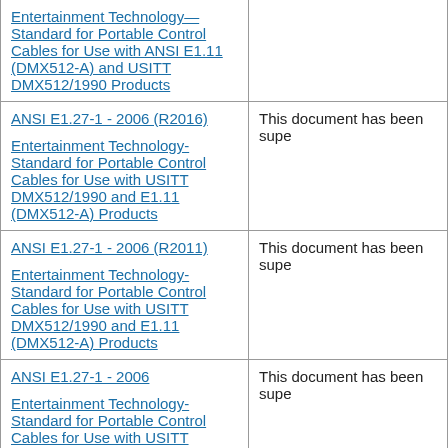| Document | Status |
| --- | --- |
| Entertainment Technology— Standard for Portable Control Cables for Use with ANSI E1.11 (DMX512-A) and USITT DMX512/1990 Products |  |
| ANSI E1.27-1 - 2006 (R2016)
Entertainment Technology-Standard for Portable Control Cables for Use with USITT DMX512/1990 and E1.11 (DMX512-A) Products | This document has been supe |
| ANSI E1.27-1 - 2006 (R2011)
Entertainment Technology-Standard for Portable Control Cables for Use with USITT DMX512/1990 and E1.11 (DMX512-A) Products | This document has been supe |
| ANSI E1.27-1 - 2006
Entertainment Technology-Standard for Portable Control Cables for Use with USITT DMX512/1990 and E1.11 (DMX512-A) Products | This document has been supe |